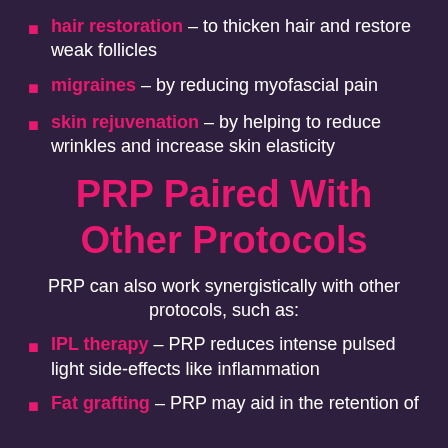hair restoration – to thicken hair and restore weak follicles
migraines – by reducing myofascial pain
skin rejuvenation – by helping to reduce wrinkles and increase skin elasticity
PRP Paired With Other Protocols
PRP can also work synergistically with other protocols, such as:
IPL therapy – PRP reduces intense pulsed light side-effects like inflammation
Fat grafting – PRP may aid in the retention of